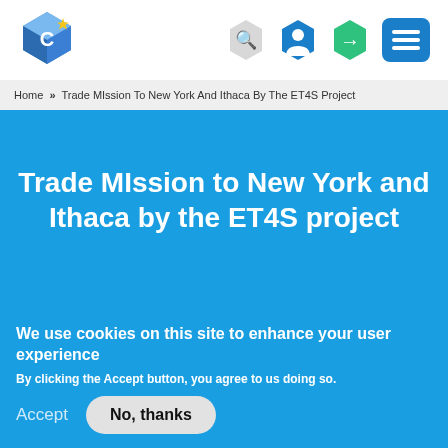[Figure (logo): Website logo: blue 3D cube icon with a yellow star and letter C]
[Figure (infographic): Navigation icons: hexagonal search icon (grey), hexagonal user icon (blue), hexagonal login arrow icon (green), hamburger menu button (blue)]
Home >> Trade MIssion To New York And Ithaca By The ET4S Project
Trade MIssion to New York and Ithaca by the ET4S project
United States
We use cookies on this site to enhance your user experience
By clicking the Accept button, you agree to us doing so.
Accept
No, thanks